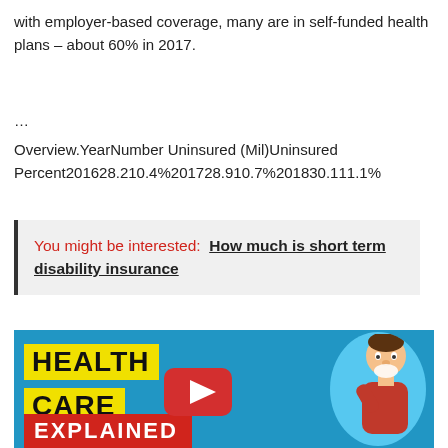with employer-based coverage, many are in self-funded health plans – about 60% in 2017.
...
Overview.YearNumber Uninsured (Mil)Uninsured Percent201628.210.4%201728.910.7%201830.111.1%
You might be interested:  How much is short term disability insurance
[Figure (illustration): Health Care Explained YouTube video thumbnail with yellow text boxes reading HEALTH CARE with a YouTube play button, EXPLAINED in red at bottom, and a cartoon character of a sick man blowing his nose on a blue background.]